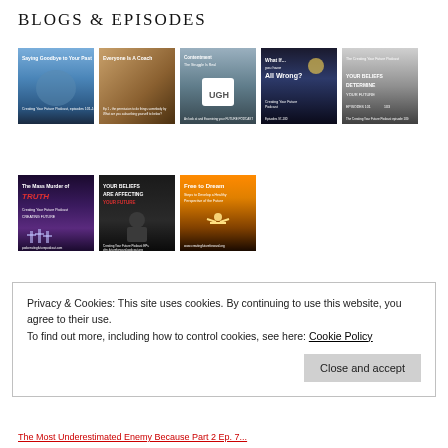BLOGS & EPISODES
[Figure (photo): Grid of 5 blog/podcast episode thumbnail images in row 1: (1) Woman looking up, blue tones, 'Saying Goodbye to Your Past'; (2) Person lying on couch reading, 'Everyone Is A Coach'; (3) Mug with 'UGH', Contentment - The Struggle is Real; (4) Dark mountain scene, 'What If... All Wrong?'; (5) Close-up face grayscale]
[Figure (photo): Grid of 3 blog/podcast episode thumbnail images in row 2: (1) Purple night sky with crosses, 'The Mass Murder of TRUTH'; (2) Person with head in hands, dark; (3) Person with arms raised against sunset, 'Free to Dream']
Privacy & Cookies: This site uses cookies. By continuing to use this website, you agree to their use.
To find out more, including how to control cookies, see here: Cookie Policy
Close and accept
The Most Underestimated Enemy Because Part 2 Ep. 7...